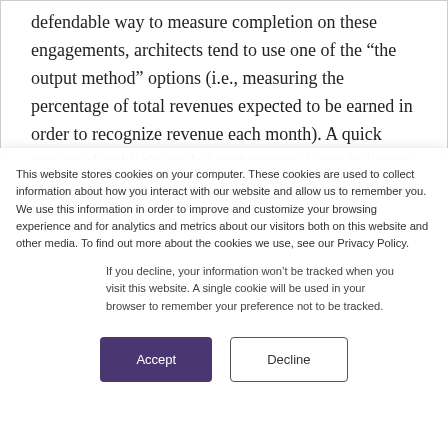defendable way to measure completion on these engagements, architects tend to use one of the “the output method” options (i.e., measuring the percentage of total revenues expected to be earned in order to recognize revenue each month). A quick survey of publicly traded architecture firms indicates that all such firms use the
This website stores cookies on your computer. These cookies are used to collect information about how you interact with our website and allow us to remember you. We use this information in order to improve and customize your browsing experience and for analytics and metrics about our visitors both on this website and other media. To find out more about the cookies we use, see our Privacy Policy.
If you decline, your information won’t be tracked when you visit this website. A single cookie will be used in your browser to remember your preference not to be tracked.